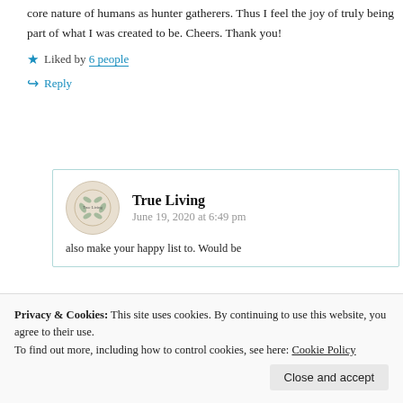core nature of humans as hunter gatherers. Thus I feel the joy of truly being part of what I was created to be. Cheers. Thank you!
★ Liked by 6 people
↪ Reply
True Living
June 19, 2020 at 6:49 pm
also make your happy list to. Would be
Privacy & Cookies: This site uses cookies. By continuing to use this website, you agree to their use. To find out more, including how to control cookies, see here: Cookie Policy